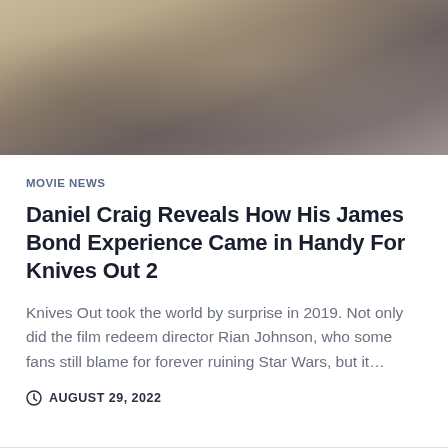[Figure (photo): Partial photo of a man in a grey suit, cropped at the top of the page]
MOVIE NEWS
Daniel Craig Reveals How His James Bond Experience Came in Handy For Knives Out 2
Knives Out took the world by surprise in 2019. Not only did the film redeem director Rian Johnson, who some fans still blame for forever ruining Star Wars, but it…
AUGUST 29, 2022